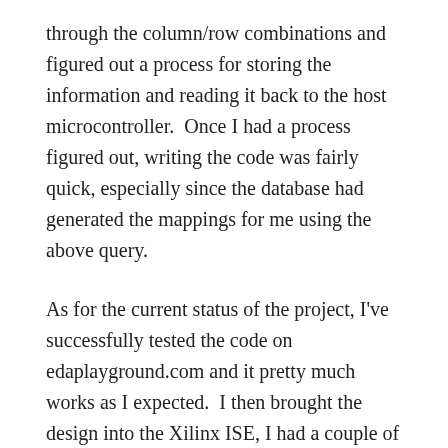through the column/row combinations and figured out a process for storing the information and reading it back to the host microcontroller.  Once I had a process figured out, writing the code was fairly quick, especially since the database had generated the mappings for me using the above query.
As for the current status of the project, I've successfully tested the code on edaplayground.com and it pretty much works as I expected.  I then brought the design into the Xilinx ISE, I had a couple of small problems to fix, and then tried to fit the design to a xc2c256 CPLD.  It turns out that the CPLD is a nice fit for the project with the code using just a bit over 60% of the devices resources.
I'm getting close to hardware at this point and will hopefully be providing a schematic soon to help demystify some of the...